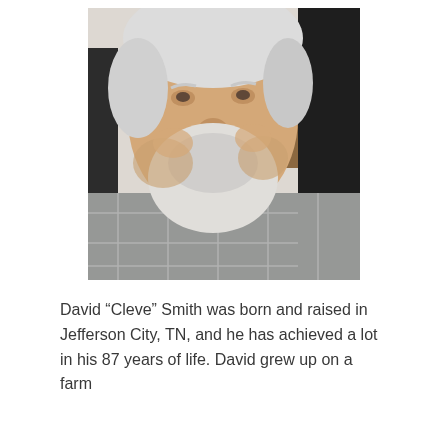[Figure (photo): Close-up portrait of an elderly man with white hair and white beard, wearing a gray plaid/checkered button-up shirt. Dark background visible on right side. The man is looking slightly to the side with a gentle expression.]
David “Cleve” Smith was born and raised in Jefferson City, TN, and he has achieved a lot in his 87 years of life. David grew up on a farm